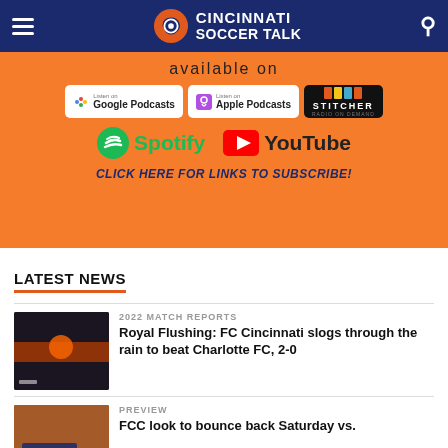Cincinnati Soccer Talk
[Figure (infographic): Orange podcast subscription banner showing 'available on' with Google Podcasts, Apple Podcasts, Stitcher, Spotify, YouTube logos and 'CLICK HERE FOR LINKS TO SUBSCRIBE!' CTA]
LATEST NEWS
[Figure (photo): Soccer match photo thumbnail for Royal Flushing article]
2022 MATCH REPORTS
Royal Flushing: FC Cincinnati slogs through the rain to beat Charlotte FC, 2-0
[Figure (photo): Match Preview thumbnail photo]
PREVIEW
FCC look to bounce back Saturday vs.